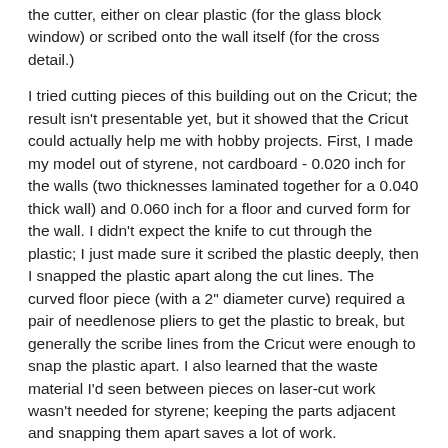the cutter, either on clear plastic (for the glass block window) or scribed onto the wall itself (for the cross detail.)
I tried cutting pieces of this building out on the Cricut; the result isn't presentable yet, but it showed that the Cricut could actually help me with hobby projects. First, I made my model out of styrene, not cardboard - 0.020 inch for the walls (two thicknesses laminated together for a 0.040 thick wall) and 0.060 inch for a floor and curved form for the wall. I didn't expect the knife to cut through the plastic; I just made sure it scribed the plastic deeply, then I snapped the plastic apart along the cut lines. The curved floor piece (with a 2" diameter curve) required a pair of needlenose pliers to get the plastic to break, but generally the scribe lines from the Cricut were enough to snap the plastic apart. I also learned that the waste material I'd seen between pieces on laser-cut work wasn't needed for styrene; keeping the parts adjacent and snapping them apart saves a lot of work.
The problems with the curved-front building were mostly because of the thin material I used for the walls. The curved base cut nicely, but the 0.020 styrene for the wall didn't stay